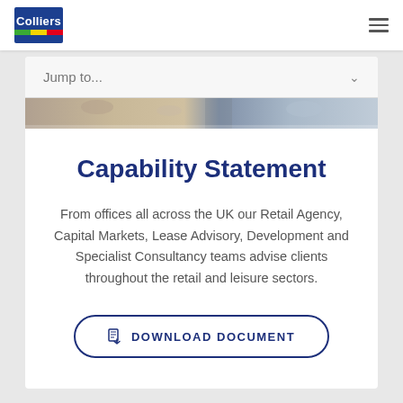[Figure (logo): Colliers logo — blue rectangle with white text 'Colliers' and green/yellow/red stripes at bottom]
Jump to...
[Figure (photo): Partial photo strip showing people in an office/retail environment]
Capability Statement
From offices all across the UK our Retail Agency, Capital Markets, Lease Advisory, Development and Specialist Consultancy teams advise clients throughout the retail and leisure sectors.
DOWNLOAD DOCUMENT